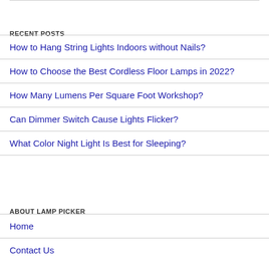RECENT POSTS
How to Hang String Lights Indoors without Nails?
How to Choose the Best Cordless Floor Lamps in 2022?
How Many Lumens Per Square Foot Workshop?
Can Dimmer Switch Cause Lights Flicker?
What Color Night Light Is Best for Sleeping?
ABOUT LAMP PICKER
Home
Contact Us